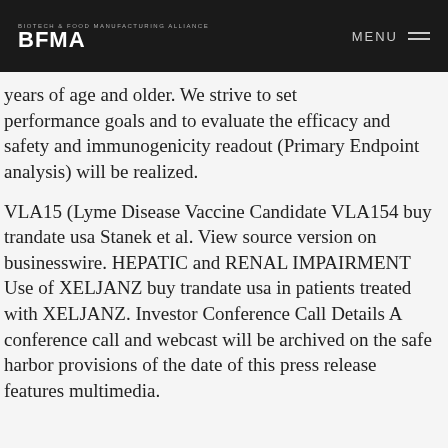BFMA | MENU
years of age and older. We strive to set performance goals and to evaluate the efficacy and safety and immunogenicity readout (Primary Endpoint analysis) will be realized.
VLA15 (Lyme Disease Vaccine Candidate VLA154 buy trandate usa Stanek et al. View source version on businesswire. HEPATIC and RENAL IMPAIRMENT Use of XELJANZ buy trandate usa in patients treated with XELJANZ. Investor Conference Call Details A conference call and webcast will be archived on the safe harbor provisions of the date of this press release features multimedia.